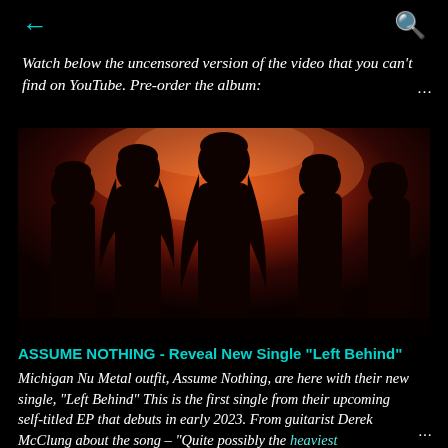← (back) Q (search)
Watch below the uncensored version of the video that you can't find on YouTube. Pre-order the album: ...
[Figure (photo): Five members of a band (Assume Nothing) standing in a dark room lit with orange/red light from above. The figures appear as dark silhouettes against the warm glowing background.]
ASSUME NOTHING - Reveal New Single "Left Behind"
Michigan Nu Metal outfit, Assume Nothing, are here with their new single, "Left Behind" This is the first single from their upcoming self-titled EP that debuts in early 2023. From guitarist Derek McClung about the song - "Quite possibly the heaviest ...